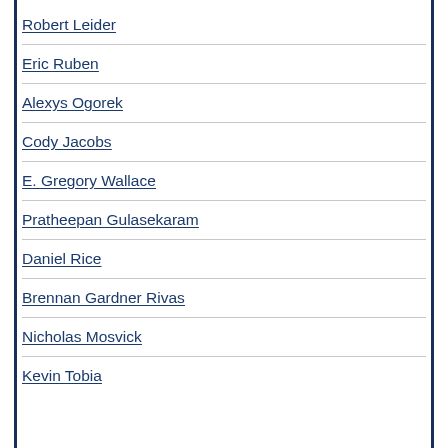Robert Leider
Eric Ruben
Alexys Ogorek
Cody Jacobs
E. Gregory Wallace
Pratheepan Gulasekaram
Daniel Rice
Brennan Gardner Rivas
Nicholas Mosvick
Kevin Tobia